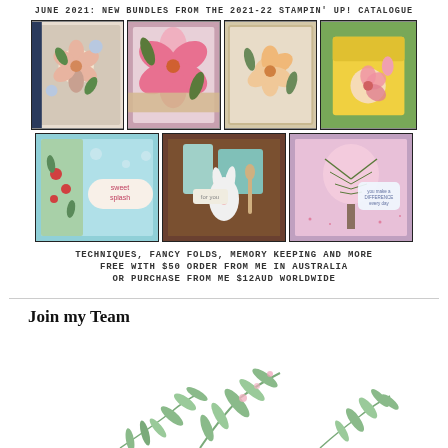JUNE 2021: NEW BUNDLES FROM THE 2021-22 STAMPIN' UP! CATALOGUE
[Figure (photo): Grid of 7 craft project photos showing handmade cards, floral designs, memory keeping projects, and decorative boxes made with Stampin' Up! products]
TECHNIQUES, FANCY FOLDS, MEMORY KEEPING AND MORE
FREE WITH $50 ORDER FROM ME IN AUSTRALIA
OR PURCHASE FROM ME $12AUD WORLDWIDE
Join my Team
[Figure (illustration): Botanical illustration of eucalyptus leaves and branches at bottom of page]